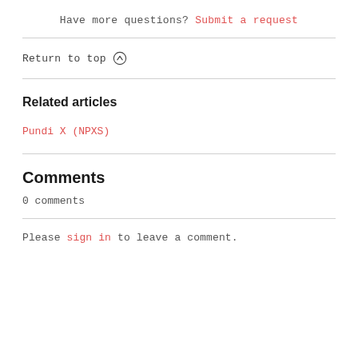Have more questions? Submit a request
Return to top ↑
Related articles
Pundi X (NPXS)
Comments
0 comments
Please sign in to leave a comment.